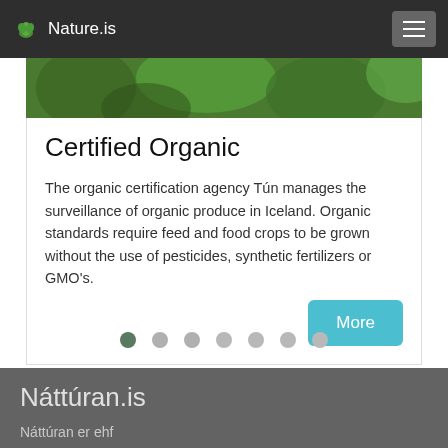Nature.is
[Figure (photo): Green plant foliage image strip at top of card]
Certified Organic
The organic certification agency Tún manages the surveillance of organic produce in Iceland. Organic standards require feed and food crops to be grown without the use of pesticides, synthetic fertilizers or GMO's.
[Figure (other): Carousel navigation dots, 7 dots with first one active]
Náttúran.is
Náttúran er ehf
Alviðru
816 Ölfus